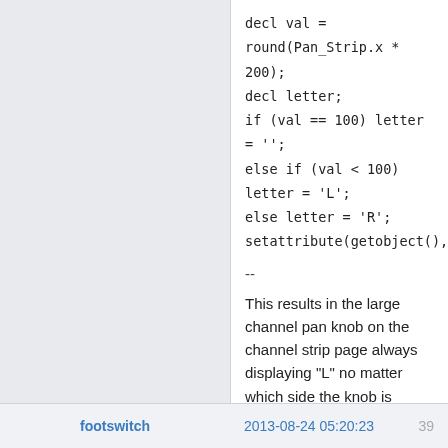decl val = round(Pan_Strip.x * 200);
decl letter;
if (val == 100) letter = '';
else if (val < 100) letter = 'L';
else letter = 'R';
setattribute(getobject(),'content',letter);
--
This results in the large channel pan knob on the channel strip page always displaying "L" no matter which side the knob is turned to.
Is anyone else experiencing these issues or have any idea how I might be able to resolve them?
Thanks in advance for your help! :)
footswitch  2013-08-24 05:20:23  39